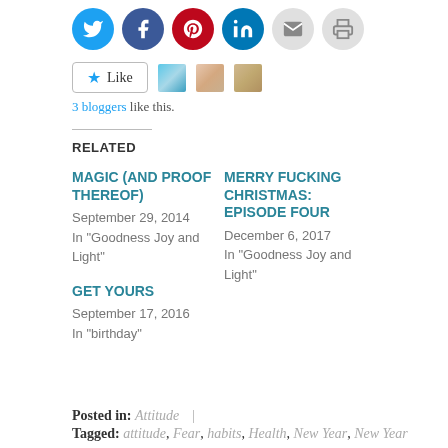[Figure (infographic): Row of social sharing icon buttons: Twitter (blue circle), Facebook (dark blue circle), Pinterest (red circle), LinkedIn (blue circle), Email (grey circle), Print (grey circle)]
[Figure (infographic): WordPress Like button with star icon and three blogger avatar thumbnails]
3 bloggers like this.
RELATED
MAGIC (AND PROOF THEREOF)
September 29, 2014
In "Goodness Joy and Light"
MERRY FUCKING CHRISTMAS: EPISODE FOUR
December 6, 2017
In "Goodness Joy and Light"
GET YOURS
September 17, 2016
In "birthday"
Posted in: Attitude |
Tagged: attitude, Fear, habits, Health, New Year, New Year